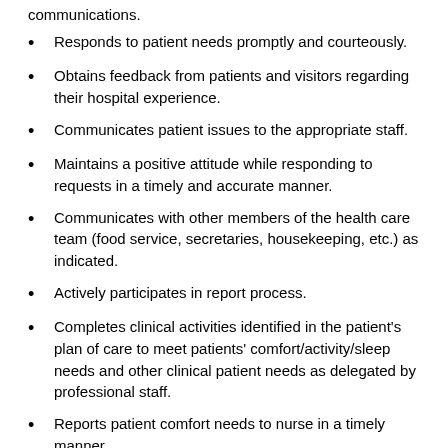communications.
Responds to patient needs promptly and courteously.
Obtains feedback from patients and visitors regarding their hospital experience.
Communicates patient issues to the appropriate staff.
Maintains a positive attitude while responding to requests in a timely and accurate manner.
Communicates with other members of the health care team (food service, secretaries, housekeeping, etc.) as indicated.
Actively participates in report process.
Completes clinical activities identified in the patient's plan of care to meet patients' comfort/activity/sleep needs and other clinical patient needs as delegated by professional staff.
Reports patient comfort needs to nurse in a timely manner.
Assures that skin is clean and dry.
Reports any noticed skin changes.
Provides personal care and assists with ADL (activities of daily living).